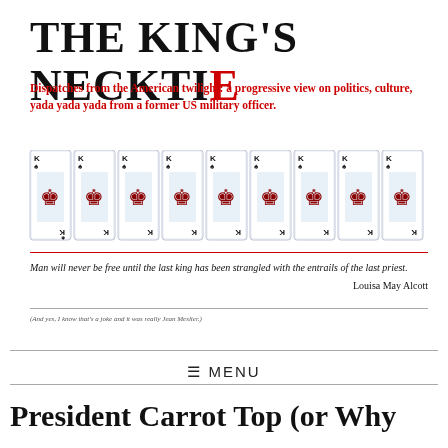THE KING'S NECKTIE
Dispatches from the American twilight: a progressive view on politics, culture, yada yada yada from a former US military officer.
[Figure (illustration): A row of nine playing cards, all showing the King of Spades face card]
Man will never be free until the last king has been strangled with the entrails of the last priest.

Louisa May Alcott
(And yes, I know that's a joke and it was really Jean Meslier.)
≡ MENU
President Carrot Top (or Why